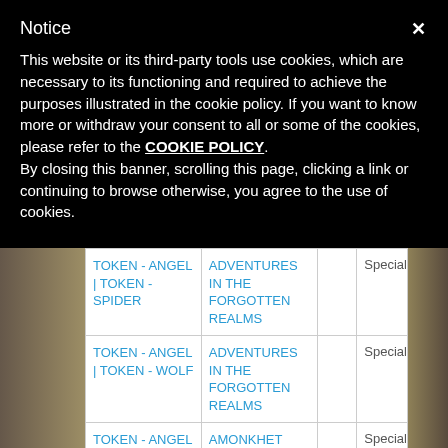Notice
This website or its third-party tools use cookies, which are necessary to its functioning and required to achieve the purposes illustrated in the cookie policy. If you want to know more or withdraw your consent to all or some of the cookies, please refer to the COOKIE POLICY. By closing this banner, scrolling this page, clicking a link or continuing to browse otherwise, you agree to the use of cookies.
|  |  |  |  |
| --- | --- | --- | --- |
| TOKEN - ANGEL | TOKEN - SPIDER | ADVENTURES IN THE FORGOTTEN REALMS |  | Special |
| TOKEN - ANGEL | TOKEN - WOLF | ADVENTURES IN THE FORGOTTEN REALMS |  | Special |
| TOKEN - ANGEL OF SANCTIONS | AMONKHET |  | Special |